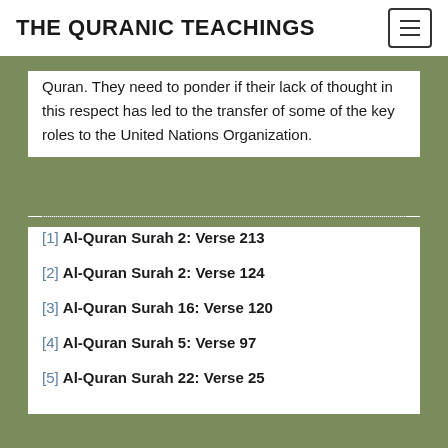THE QURANIC TEACHINGS
Quran. They need to ponder if their lack of thought in this respect has led to the transfer of some of the key roles to the United Nations Organization.
[1] Al-Quran Surah 2: Verse 213
[2] Al-Quran Surah 2: Verse 124
[3] Al-Quran Surah 16: Verse 120
[4] Al-Quran Surah 5: Verse 97
[5] Al-Quran Surah 22: Verse 25